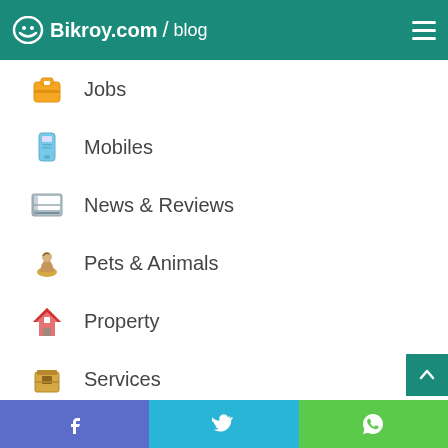Bikroy.com / blog
Jobs
Mobiles
News & Reviews
Pets & Animals
Property
Services
Tips & Guide
Top & Best
Vehicles
Facebook | Twitter | WhatsApp